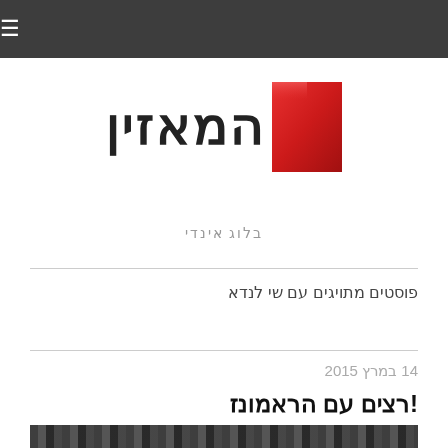☰
[Figure (logo): המאזין logo with Hebrew text and red square icon]
בלוג אינדי
פוסטים מתויגים עם שי לנדא
14 במרץ 2015
רצים עם הראמונז!
[Figure (photo): Black and white photograph at the bottom of the page]